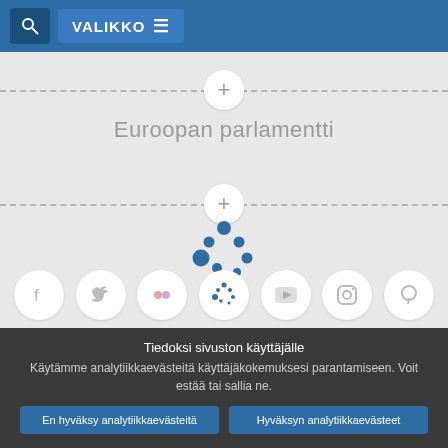VALIKKO
Euroopan parlamentti
[Figure (logo): European Parliament logo made of blue dots arranged in a circular/triangular pattern]
[Figure (infographic): Social media icons: Facebook, Twitter, Flickr, EU Parliament dots logo, YouTube, Instagram, Pinterest — all in white circles]
Tiedoksi sivuston käyttäjälle
Käytämme analytiikkaevästeitä käyttäjäkokemuksesi parantamiseen. Voit estää tai sallia ne.
En hyväksy analytiikkaevästeitä
Hyväksyn analytiikkaevästeet
Tietoa käyttämistämme muista evästeistä ja palvelinlokeista: tietosuojakäytäntömme , evästekäytäntömme ja evästehakemistomme